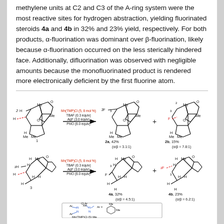methylene units at C2 and C3 of the A-ring system were the most reactive sites for hydrogen abstraction, yielding fluorinated steroids 4a and 4b in 32% and 23% yield, respectively. For both products, α-fluorination was dominant over β-fluorination, likely because α-fluorination occurred on the less sterically hindered face. Additionally, difluorination was observed with negligible amounts because the monofluorinated product is rendered more electronically deficient by the first fluorine atom.
[Figure (schematic): Reaction scheme showing Mn(TMP)Cl catalyzed fluorination of steroids. Top row: compound 1 reacts with Mn(TMP)Cl (5, 8 mol%), TBAF (0.3 equiv), AgF (3.0 equiv), PhIO (8.0 equiv) to give 2a (42%, α/β=3.1:1) plus 2b (15%, α/β=7.8:1). Bottom row: compound 3 reacts under same conditions to give 4a (32%, α/β=4.5:1) plus 4b (23%, α/β=6.2:1). Below: structure of Mn(TMP)Cl catalyst.]